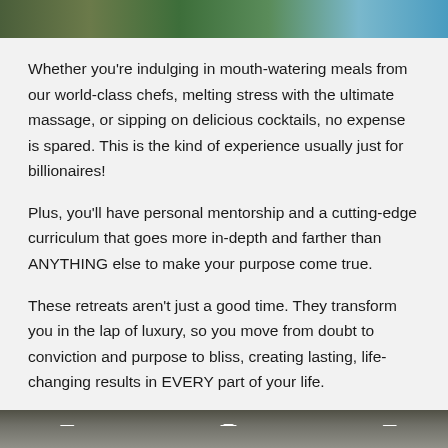[Figure (photo): Top partial image showing green foliage and blue water/sky]
Whether you're indulging in mouth-watering meals from our world-class chefs, melting stress with the ultimate massage, or sipping on delicious cocktails, no expense is spared. This is the kind of experience usually just for billionaires!
Plus, you'll have personal mentorship and a cutting-edge curriculum that goes more in-depth and farther than ANYTHING else to make your purpose come true.
These retreats aren't just a good time. They transform you in the lap of luxury, so you move from doubt to conviction and purpose to bliss, creating lasting, life-changing results in EVERY part of your life.
[Figure (photo): Bottom partial image showing interior ceiling with recessed lighting]